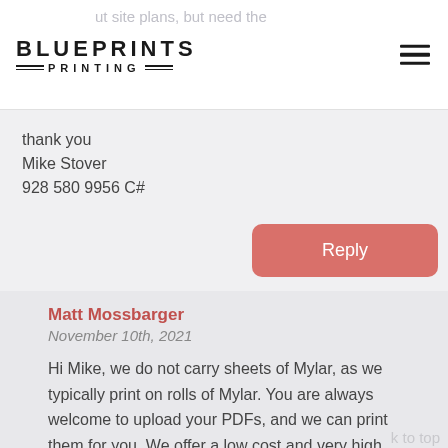Blueprints Printing
thank you
Mike Stover
928 580 9956 C#
Reply
Matt Mossbarger
November 10th, 2021
Hi Mike, we do not carry sheets of Mylar, as we typically print on rolls of Mylar. You are always welcome to upload your PDFs, and we can print them for you. We offer a low cost and very high quality Mylar prints. Just choose the “Frosted Mylar” when ordering.